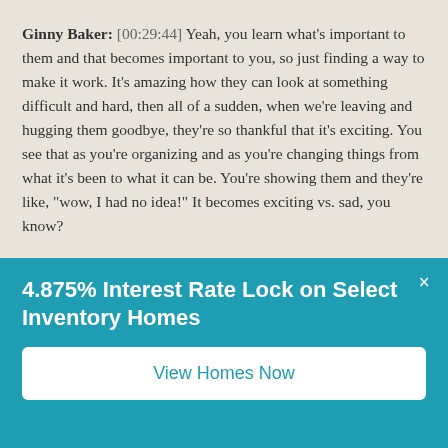Ginny Baker: [00:29:44] Yeah, you learn what's important to them and that becomes important to you, so just finding a way to make it work. It's amazing how they can look at something difficult and hard, then all of a sudden, when we're leaving and hugging them goodbye, they're so thankful that it's exciting. You see that as you're organizing and as you're changing things from what it's been to what it can be. You're showing them and they're like, "wow, I had no idea!" It becomes exciting vs. sad, you know?
Erika Seamayer-Williamson: [00:30:14] True.
Ginny Baker: [00:30:15] It's fun.
4.875% Interest Rate Lock on Select Inventory Homes
View Homes Now